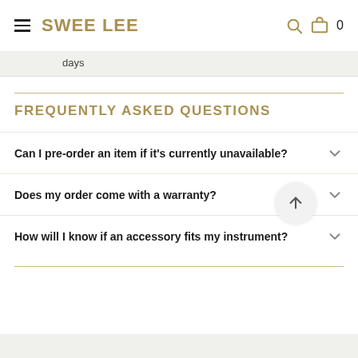SWEE LEE
days
FREQUENTLY ASKED QUESTIONS
Can I pre-order an item if it's currently unavailable?
Does my order come with a warranty?
How will I know if an accessory fits my instrument?